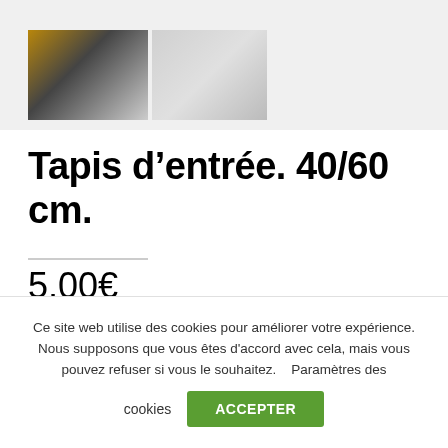[Figure (photo): Two small product thumbnail images side by side: left shows a dark-toned entrance mat, right shows a lighter-toned entrance mat]
Tapis d’entrée. 40/60 cm.
5,00€
Ce site web utilise des cookies pour améliorer votre expérience. Nous supposons que vous êtes d'accord avec cela, mais vous pouvez refuser si vous le souhaitez.   Paramètres des cookies
ACCEPTER